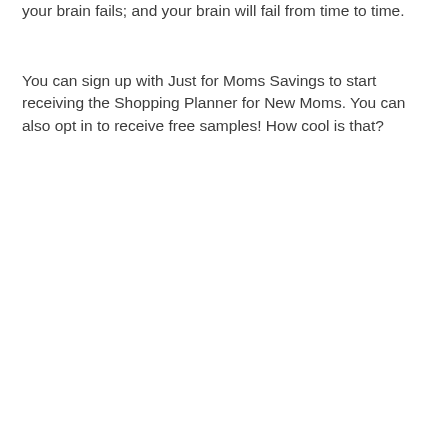your brain fails; and your brain will fail from time to time.
You can sign up with Just for Moms Savings to start receiving the Shopping Planner for New Moms. You can also opt in to receive free samples! How cool is that?